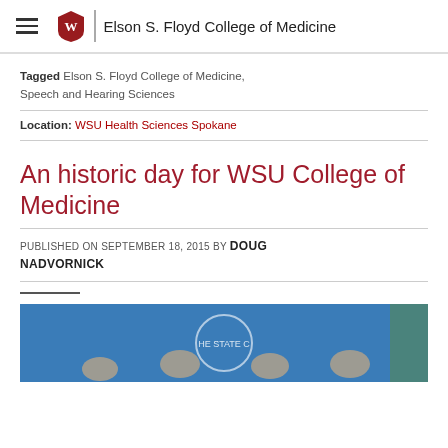Elson S. Floyd College of Medicine
Tagged Elson S. Floyd College of Medicine, Speech and Hearing Sciences
Location: WSU Health Sciences Spokane
An historic day for WSU College of Medicine
PUBLISHED ON SEPTEMBER 18, 2015 BY DOUG NADVORNICK
[Figure (photo): Group of people seated in front of a blue Washington State banner/flag at what appears to be an official signing or ceremony event.]